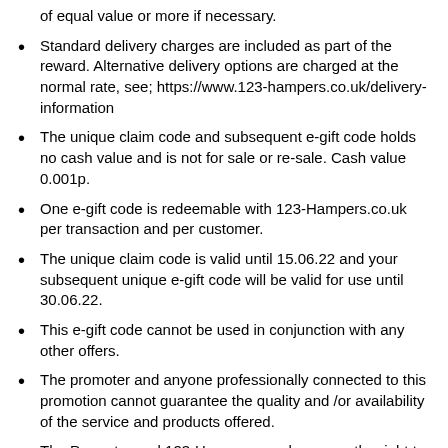of equal value or more if necessary.
Standard delivery charges are included as part of the reward. Alternative delivery options are charged at the normal rate, see; https://www.123-hampers.co.uk/delivery-information
The unique claim code and subsequent e-gift code holds no cash value and is not for sale or re-sale. Cash value 0.001p.
One e-gift code is redeemable with 123-Hampers.co.uk per transaction and per customer.
The unique claim code is valid until 15.06.22 and your subsequent unique e-gift code will be valid for use until 30.06.22.
This e-gift code cannot be used in conjunction with any other offers.
The promoter and anyone professionally connected to this promotion cannot guarantee the quality and /or availability of the service and products offered.
The Promoter and 123-Hampers.co.uk reserve the right to